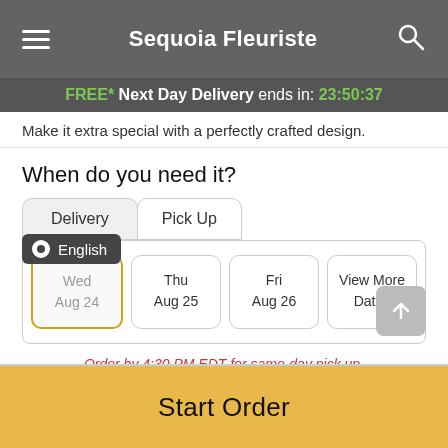Sequoia Fleuriste
FREE* Next Day Delivery ends in: 23:50:37
Make it extra special with a perfectly crafted design.
When do you need it?
Delivery
Pick Up
Wed Aug 24
Thu Aug 25
Fri Aug 26
View More Dates
Order by 4:30 PM EDT for same-day pick up.
Start Order